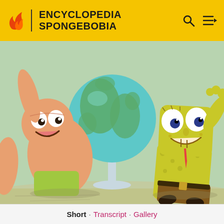ENCYCLOPEDIA SPONGEBOBIA
[Figure (screenshot): Screenshot from SpongeBob SquarePants showing Patrick Star and SpongeBob running excitedly next to a large globe on a stand. Patrick is on the left, SpongeBob on the right, with a teal globe in the center background.]
Short · Transcript · Gallery